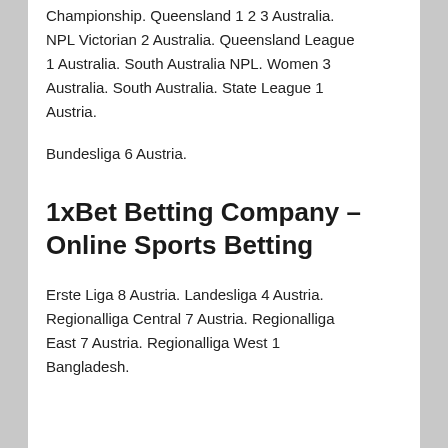Championship. Queensland 1 2 3 Australia. NPL Victorian 2 Australia. Queensland League 1 Australia. South Australia NPL. Women 3 Australia. South Australia. State League 1 Austria.
Bundesliga 6 Austria.
1xBet Betting Company – Online Sports Betting
Erste Liga 8 Austria. Landesliga 4 Austria. Regionalliga Central 7 Austria. Regionalliga East 7 Austria. Regionalliga West 1 Bangladesh.